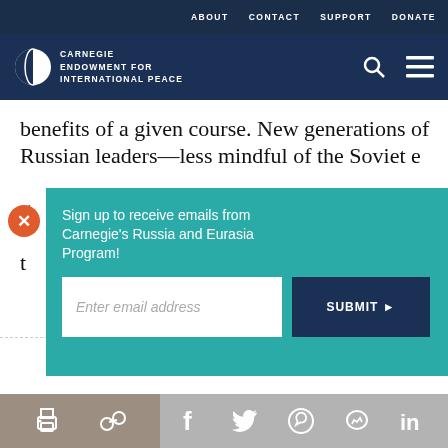ABOUT   CONTACT   SUPPORT   DONATE
[Figure (logo): Carnegie Endowment for International Peace logo with globe icon and white text]
benefits of a given course. New generations of Russian leaders—less mindful of the Soviet e... g... t...
[Figure (screenshot): Teal modal overlay with sign-up form: 'Sign up to receive emails from Carnegie's Russia and Eurasia Program!' with email input field and SUBMIT button]
our cookie policy.
Social share icons: print, link, facebook, twitter, whatsapp, messenger, linkedin